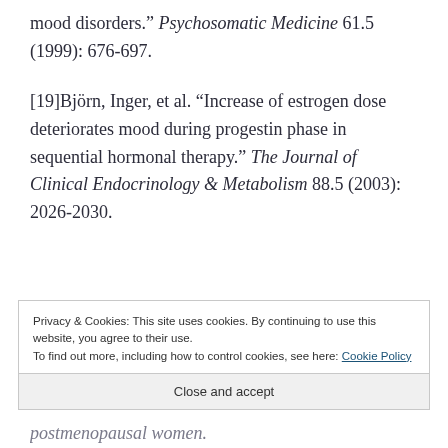mood disorders." Psychosomatic Medicine 61.5 (1999): 676-697.
[19]Björn, Inger, et al. "Increase of estrogen dose deteriorates mood during progestin phase in sequential hormonal therapy." The Journal of Clinical Endocrinology & Metabolism 88.5 (2003): 2026-2030.
Privacy & Cookies: This site uses cookies. By continuing to use this website, you agree to their use. To find out more, including how to control cookies, see here: Cookie Policy
Close and accept
postmenopausal women.